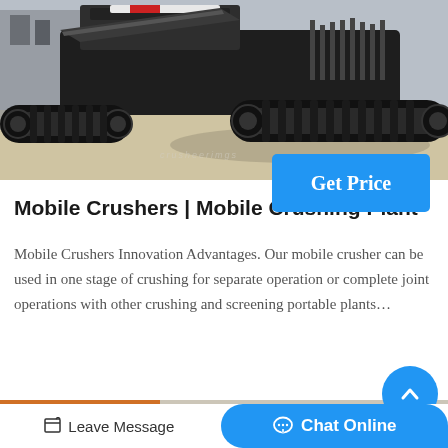[Figure (photo): A large mobile crushing plant machine with black crawler tracks parked on a concrete/ground surface, photographed from a low angle. The machine has dark metallic body with conveyor belt structure visible.]
Get Price
Mobile Crushers | Mobile Crushing Plant
Mobile Crushers Innovation Advantages. Our mobile crusher can be used in one stage of crushing for separate operation or complete joint operations with other crushing and screening portable plants…
[Figure (photo): Partial view of another piece of heavy equipment, orange/industrial colored, at the bottom of the page.]